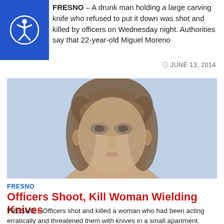FRESNO – A drunk man holding a large carving knife who refused to put it down was shot and killed by officers on Wednesday night. Authorities say that 22-year-old Miguel Moreno
JUNE 13, 2014
[Figure (photo): Blurred mugshot-style photo of a woman with brown hair, against a light blue background]
FRESNO
Officers Shoot, Kill Woman Wielding Knives
FRESNO – Officers shot and killed a woman who had been acting erratically and threatened them with knives in a small apartment. Officers responded to a 3:30 p.m. call on